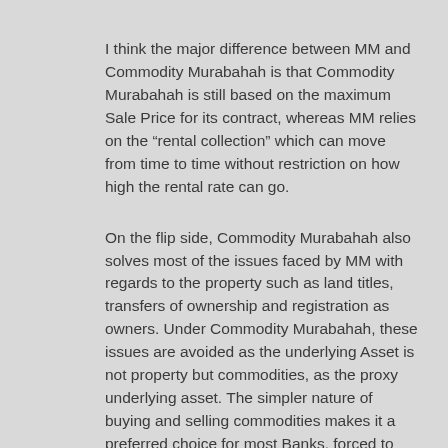I think the major difference between MM and Commodity Murabahah is that Commodity Murabahah is still based on the maximum Sale Price for its contract, whereas MM relies on the “rental collection” which can move from time to time without restriction on how high the rental rate can go.
On the flip side, Commodity Murabahah also solves most of the issues faced by MM with regards to the property such as land titles, transfers of ownership and registration as owners. Under Commodity Murabahah, these issues are avoided as the underlying Asset is not property but commodities, as the proxy underlying asset. The simpler nature of buying and selling commodities makes it a preferred choice for most Banks, forced to adhere